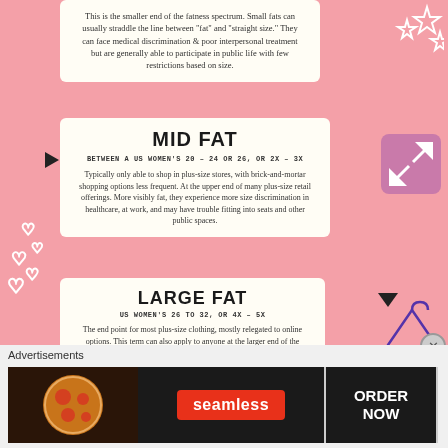This is the smaller end of the fatness spectrum. Small fats can usually straddle the line between "fat" and "straight size." They can face medical discrimination & poor interpersonal treatment but are generally able to participate in public life with few restrictions based on size.
MID FAT
BETWEEN A US WOMEN'S 20 – 24 OR 26, OR 2X – 3X
Typically only able to shop in plus-size stores, with brick-and-mortar shopping options less frequent. At the upper end of many plus-size retail offerings. More visibly fat, they experience more size discrimination in healthcare, at work, and may have trouble fitting into seats and other public spaces.
LARGE FAT
US WOMEN'S 26 TO 32, OR 4X – 5X
The end point for most plus-size clothing, mostly relegated to online options. This term can also apply to anyone at the larger end of the fatness spectrum, though typically they place closer to the middle of the bell curve.
Advertisements
[Figure (other): Seamless food delivery advertisement banner with pizza image, Seamless logo in red, and ORDER NOW button]